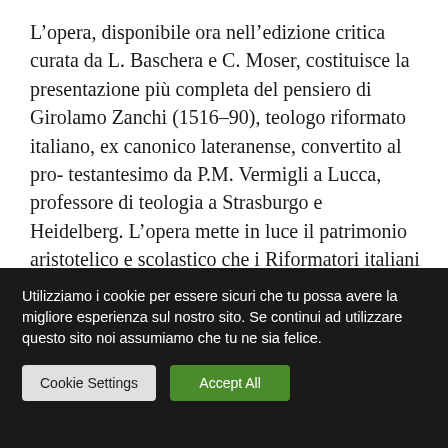L'opera, disponibile ora nell'edizione critica curata da L. Baschera e C. Moser, costituisce la presentazione più completa del pensiero di Girolamo Zanchi (1516–90), teologo riformato italiano, ex canonico lateranense, convertito al pro- testantesimo da P.M. Vermigli a Lucca, professore di teologia a Strasburgo e Heidelberg. L'opera mette in luce il patrimonio aristotelico e scolastico che i Riformatori italiani e Zanchi in particolare
Utilizziamo i cookie per essere sicuri che tu possa avere la migliore esperienza sul nostro sito. Se continui ad utilizzare questo sito noi assumiamo che tu ne sia felice.
Cookie Settings
Accept All